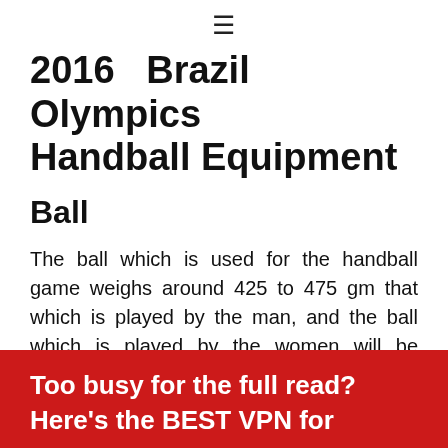≡
2016  Brazil  Olympics Handball Equipment
Ball
The ball which is used for the handball game weighs around 425 to 475 gm that which is played by the man, and the ball which is played by the women will be around 325 to 400 gm
Too busy for the full read? Here's the BEST VPN for